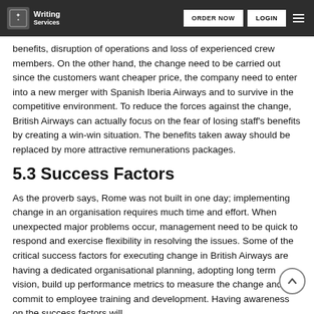Writing Services | ORDER NOW | LOGIN
benefits, disruption of operations and loss of experienced crew members. On the other hand, the change need to be carried out since the customers want cheaper price, the company need to enter into a new merger with Spanish Iberia Airways and to survive in the competitive environment. To reduce the forces against the change, British Airways can actually focus on the fear of losing staff's benefits by creating a win-win situation. The benefits taken away should be replaced by more attractive remunerations packages.
5.3 Success Factors
As the proverb says, Rome was not built in one day; implementing change in an organisation requires much time and effort. When unexpected major problems occur, management need to be quick to respond and exercise flexibility in resolving the issues. Some of the critical success factors for executing change in British Airways are having a dedicated organisational planning, adopting long term vision, build up performance metrics to measure the change and commit to employee training and development. Having awareness on the success factors will